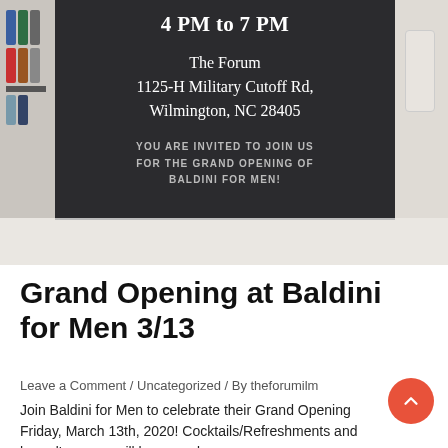[Figure (photo): Dark-background grand opening invitation card showing '4 PM to 7 PM', address 'The Forum, 1125-H Military Cutoff Rd, Wilmington, NC 28405', and invitation text 'YOU ARE INVITED TO JOIN US FOR THE GRAND OPENING OF BALDINI FOR MEN!' overlaid on a store interior background with clothing shelves.]
Grand Opening at Baldini for Men 3/13
Leave a Comment / Uncategorized / By theforumilm
Join Baldini for Men to celebrate their Grand Opening Friday, March 13th, 2020! Cocktails/Refreshments and hors d'oeuvres will be served.